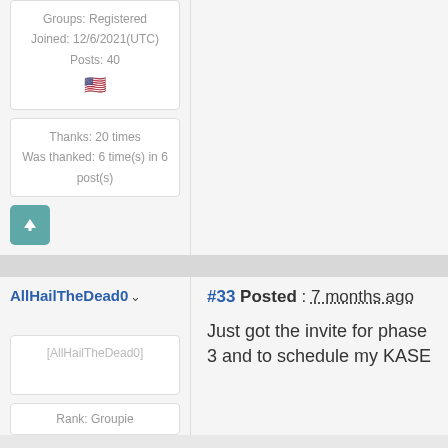Groups: Registered
Joined: 12/6/2021(UTC)
Posts: 40
Thanks: 20 times
Was thanked: 6 time(s) in 6 post(s)
AllHailTheDead0
#33 Posted : 7 months ago
[Figure (other): AllHailTheDead0 avatar placeholder image]
Rank: Groupie
Just got the invite for phase 3 and to schedule my KASE